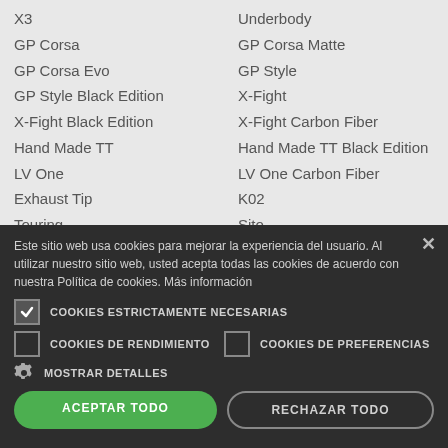X3 | Underbody
GP Corsa | GP Corsa Matte
GP Corsa Evo | GP Style
GP Style Black Edition | X-Fight
X-Fight Black Edition | X-Fight Carbon Fiber
Hand Made TT | Hand Made TT Black Edition
LV One | LV One Carbon Fiber
Exhaust Tip | K02
Touring | Sito
Sitoplus | Granturismo
Este sitio web usa cookies para mejorar la experiencia del usuario. Al utilizar nuestro sitio web, usted acepta todas las cookies de acuerdo con nuestra Política de cookies. Más información
COOKIES ESTRICTAMENTE NECESARIAS
COOKIES DE RENDIMIENTO
COOKIES DE PREFERENCIAS
MOSTRAR DETALLES
ACEPTAR TODO
RECHAZAR TODO